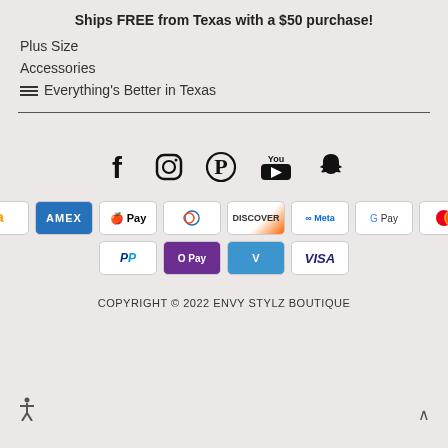Ships FREE from Texas with a $50 purchase!
Plus Size
Accessories
Everything's Better in Texas
[Figure (infographic): Social media icons: Facebook, Instagram, Pinterest, YouTube, Snapchat]
[Figure (infographic): Payment method badges: Amazon, Amex, Apple Pay, Diners, Discover, Meta Pay, Google Pay, Mastercard, PayPal, OPay, Venmo, Visa]
COPYRIGHT © 2022 ENVY STYLZ BOUTIQUE